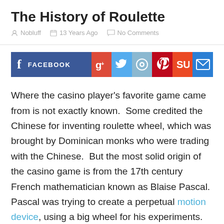The History of Roulette
Nobluff   13 Years Ago   No Comments
[Figure (infographic): Social sharing buttons row: Facebook, Google+, Twitter, Reddit, Pinterest, StumbleUpon, Email]
Where the casino player's favorite game came from is not exactly known.  Some credited the Chinese for inventing roulette wheel, which was brought by Dominican monks who were trading with the Chinese.  But the most solid origin of the casino game is from the 17th century French mathematician known as Blaise Pascal.  Pascal was trying to create a perpetual motion device, using a big wheel for his experiments.  It is said that one of his friends saw the potential of the wheel to make a good gambling device.  While, Pascal wasn't able to make its perpetual motion device, he was able to develop a game that will be